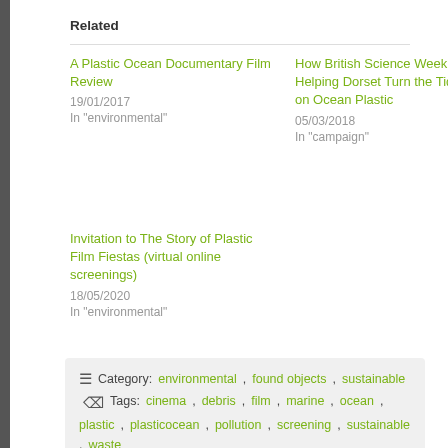Related
A Plastic Ocean Documentary Film Review
19/01/2017
In "environmental"
How British Science Week is Helping Dorset Turn the Tide on Ocean Plastic
05/03/2018
In "campaign"
Invitation to The Story of Plastic Film Fiestas (virtual online screenings)
18/05/2020
In "environmental"
Category: environmental, found objects, sustainable
Tags: cinema, debris, film, marine, ocean, plastic, plasticocean, pollution, screening, sustainable, waste
← A Plastic Ocean Documentary Film Review
PRESS RELEASE A Plastic Ocean is Coming to Dorset… Friday 5th May